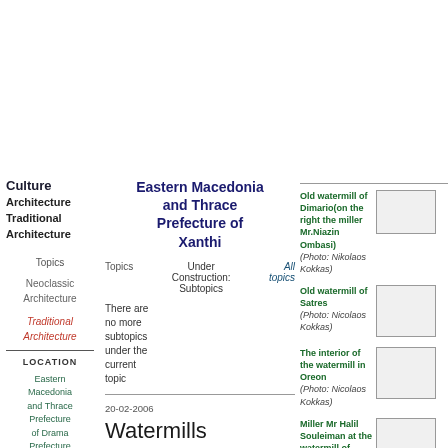Culture Architecture Traditional Architecture
Eastern Macedonia and Thrace Prefecture of Xanthi
Topics
Under Construction: Subtopics
All topics
Neoclassic Architecture
Traditional Architecture
LOCATION
Eastern Macedonia and Thrace Prefecture of Drama Prefecture of Evros Prefecture
There are no more subtopics under the current topic
20-02-2006
Watermills on the Highlands
Old watermill of Dimario(on the right the miller Mr.Niazin Ombasi)
(Photo: Nikolaos Kokkas)
[Figure (photo): Old watermill of Dimario photo placeholder]
Old watermill of Satres
(Photo: Nicolaos Kokkas)
[Figure (photo): Old watermill of Satres photo placeholder]
The interior of the watermill in Oreon
(Photo: Nicolaos Kokkas)
[Figure (photo): Interior of watermill in Oreon photo placeholder]
Miller Mr Halil Souleiman at the watermill of Oreon
[Figure (photo): Miller Mr Halil Souleiman photo placeholder]